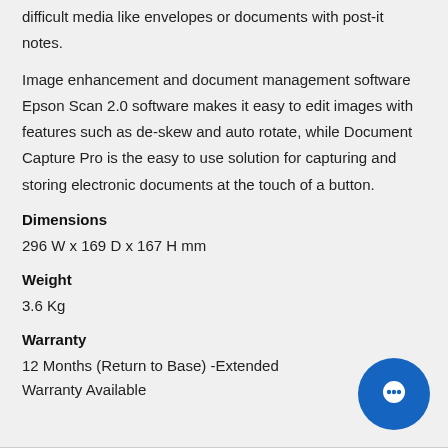difficult media like envelopes or documents with post-it notes.
Image enhancement and document management software Epson Scan 2.0 software makes it easy to edit images with features such as de-skew and auto rotate, while Document Capture Pro is the easy to use solution for capturing and storing electronic documents at the touch of a button.
Dimensions
296 W x 169 D x 167 H mm
Weight
3.6 Kg
Warranty
12 Months (Return to Base) -Extended Warranty Available